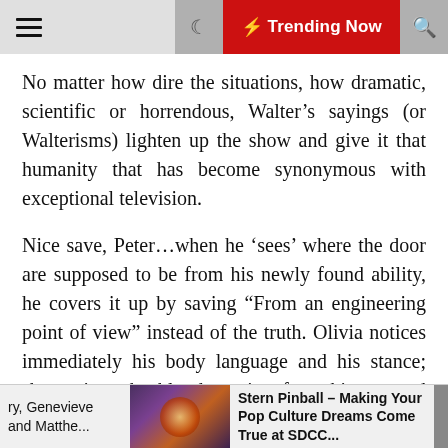Trending Now
No matter how dire the situations, how dramatic, scientific or horrendous, Walter’s sayings (or Walterisms) lighten up the show and give it that humanity that has become synonymous with exceptional television.
Nice save, Peter…when he ‘sees’ where the door are supposed to be from his newly found ability, he covers it up by saving “From an engineering point of view” instead of the truth. Olivia notices immediately his body language and his stance; she notices the blood coming from his ear and calls him on it. Once again, Peter has an answer for everything; a little too easily explained which sends sirens and red flags in Olivia’s brain that something
ry, Genevieve and Matthe... | Stern Pinball – Making Your Pop Culture Dreams Come True at SDCC...